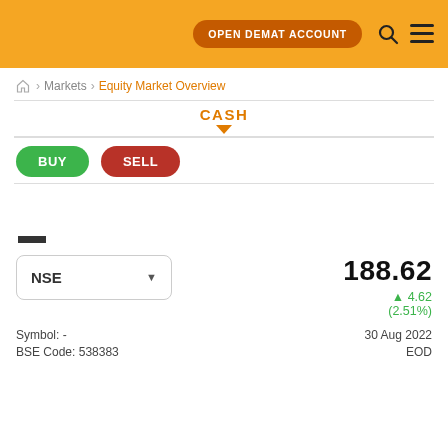OPEN DEMAT ACCOUNT
Home > Markets > Equity Market Overview
CASH
BUY  SELL
—
NSE
188.62
▲ 4.62 (2.51%)
Symbol: -
30 Aug 2022
BSE Code: 538383
EOD